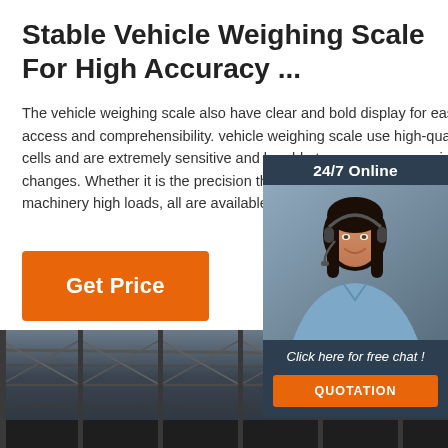Stable Vehicle Weighing Scale For High Accuracy ...
The vehicle weighing scale also have clear and bold display for ease of access and comprehensibility. vehicle weighing scale use high-quality load cells and are extremely sensitive and be able to measure even minute changes. Whether it is the precision that is required or industrial quality machinery high loads, all are available.
[Figure (photo): Chat widget showing a customer service representative with headset, '24/7 Online' header, 'Click here for free chat!' text, and orange QUOTATION button]
[Figure (photo): Bottom portion of page showing industrial building interior with steel roof beams/trusses visible, dark atmospheric photo]